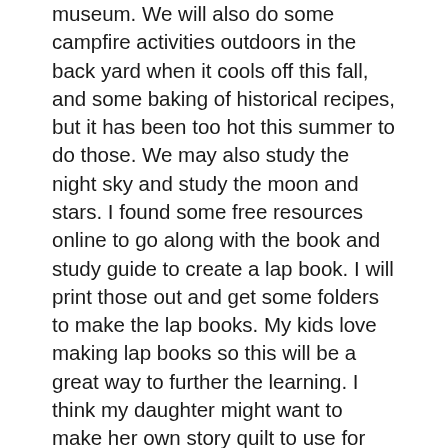museum.  We will also do some campfire activities outdoors in the back yard when it cools off this fall, and some baking of historical recipes, but it has been too hot this summer to do those.  We may also study the night sky and study the moon and stars.  I found some free resources online to go along with the book and study guide to create a lap book.  I will print those out and get some folders to make the lap books.  My kids love making lap books so this will be a great way to further the learning.  I think my daughter might want to make her own story quilt to use for her bed in the future.
I was looking forward to doing this review because we enjoyed reviewing Sam The